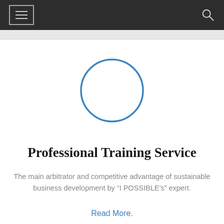Navigation header with menu icon and search icon
[Figure (illustration): A blue outlined circle (empty/placeholder profile image area) centered on a white background]
Professional Training Service
The main arbitrator and competitive advantage of sustainable business development by “I POSSIBLE’s” expert.
Read More.